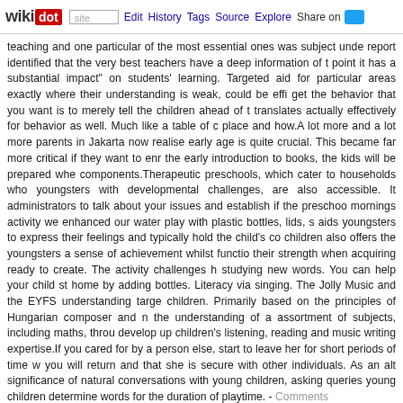wikidot | site | Edit | History | Tags | Source | Explore | Share on Twitter
teaching and one particular of the most essential ones was subject unde report identified that the very best teachers have a deep information of t point it has a substantial impact" on students' learning. Targeted aid for particular areas exactly where their understanding is weak, could be effi get the behavior that you want is to merely tell the children ahead of t translates actually effectively for behavior as well. Much like a table of c place and how.A lot more and a lot more parents in Jakarta now realise early age is quite crucial. This became far more critical if they want to enr the early introduction to books, the kids will be prepared whe components.Therapeutic preschools, which cater to households who youngsters with developmental challenges, are also accessible. It administrators to talk about your issues and establish if the preschoo mornings activity we enhanced our water play with plastic bottles, lids, s aids youngsters to express their feelings and typically hold the child's co children also offers the youngsters a sense of achievement whilst functio their strength when acquiring ready to create. The activity challenges h studying new words. You can help your child st home by adding bottles. Literacy via singing. The Jolly Music and the EYFS understanding targe children. Primarily based on the principles of Hungarian composer and n the understanding of a assortment of subjects, including maths, throu develop up children's listening, reading and music writing expertise.If you cared for by a person else, start to leave her for short periods of time w you will return and that she is secure with other individuals. As an alt significance of natural conversations with young children, asking queries young children determine words for the duration of playtime. - Comments
True Estate Advertisements Slammed For Featur
November 2018, 04:50